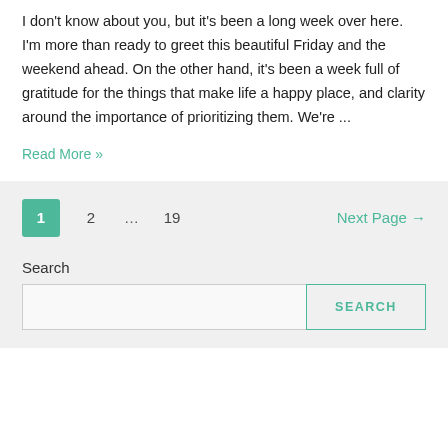I don't know about you, but it's been a long week over here. I'm more than ready to greet this beautiful Friday and the weekend ahead. On the other hand, it's been a week full of gratitude for the things that make life a happy place, and clarity around the importance of prioritizing them. We're ...
Read More »
1  2  …  19  Next Page →
Search
SEARCH